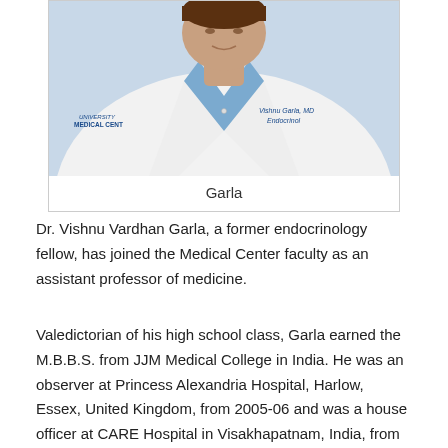[Figure (photo): Headshot photo of Dr. Vishnu Vardhan Garla in a white medical coat with a blue collared shirt. The coat has a logo reading 'MEDICAL CENT' on the left and an embroidered name tag reading 'Vishnu Garla, MD Endocrinol' on the right.]
Garla
Dr. Vishnu Vardhan Garla, a former endocrinology fellow, has joined the Medical Center faculty as an assistant professor of medicine.
Valedictorian of his high school class, Garla earned the M.B.B.S. from JJM Medical College in India. He was an observer at Princess Alexandria Hospital, Harlow, Essex, United Kingdom, from 2005-06 and was a house officer at CARE Hospital in Visakhapatnam, India, from 2006-07.